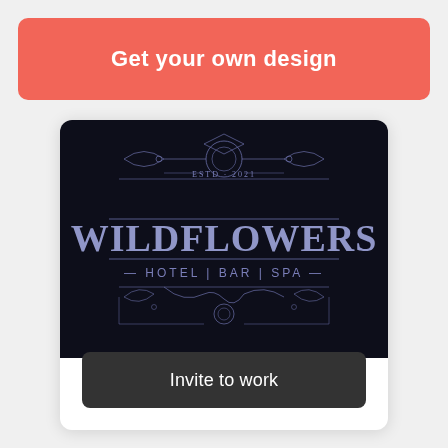Get your own design
[Figure (logo): Wildflowers Hotel | Bar | Spa logo on a dark navy background. Ornate decorative border with flourishes surrounds the text. 'ESTD 2021' appears at the top. 'WILDFLOWERS' in large serif letters, below it 'HOTEL | BAR | SPA' with arrow decorations.]
Invite to work